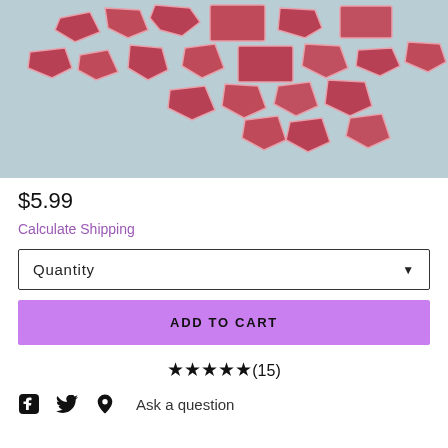[Figure (photo): Photo of multiple irregular reddish-pink stone or candy pieces scattered on a light blue-grey background]
$5.99
Calculate Shipping
Quantity
ADD TO CART
★★★★★(15)
Ask a question